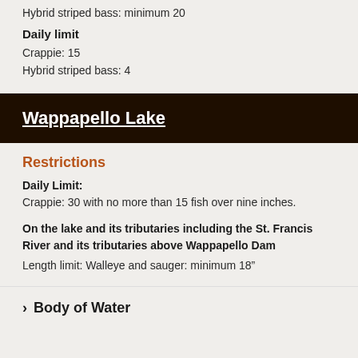Hybrid striped bass: minimum 20
Daily limit
Crappie: 15
Hybrid striped bass: 4
Wappapello Lake
Restrictions
Daily Limit:
Crappie: 30 with no more than 15 fish over nine inches.
On the lake and its tributaries including the St. Francis River and its tributaries above Wappapello Dam
Length limit: Walleye and sauger: minimum 18”
Body of Water